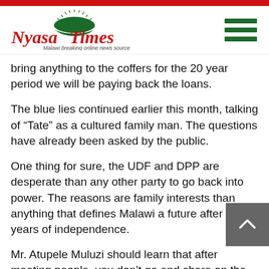Nyasa Times - Malawi breaking online news source
bring anything to the coffers for the 20 year period we will be paying back the loans.
The blue lies continued earlier this month, talking of “Tate” as a cultured family man. The questions have already been asked by the public.
One thing for sure, the UDF and DPP are desperate than any other party to go back into power. The reasons are family interests than anything that defines Malawi a future after 50 years of independence.
Mr. Atupele Muluzi should learn that after meeting people, you don’t go and share on the podium what they said to you in private. It’s a self-inflicted disaster he has to apologise to Malawians and